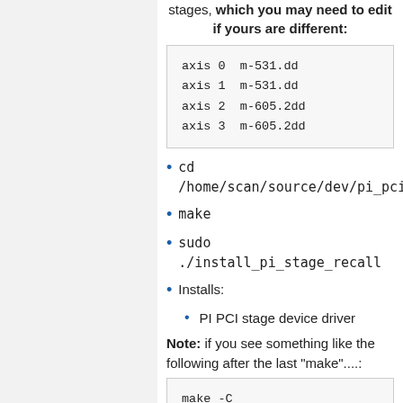stages, which you may need to edit if yours are different:
axis 0  m-531.dd
axis 1  m-531.dd
axis 2  m-605.2dd
axis 3  m-605.2dd
cd /home/scan/source/dev/pi_pci/driver_2.6...
make
sudo ./install_pi_stage_recall
Installs:
PI PCI stage device driver
Note: if you see something like the following after the last "make"....:
make -C /lib/modules/2.6.27.45-0.1-default/build